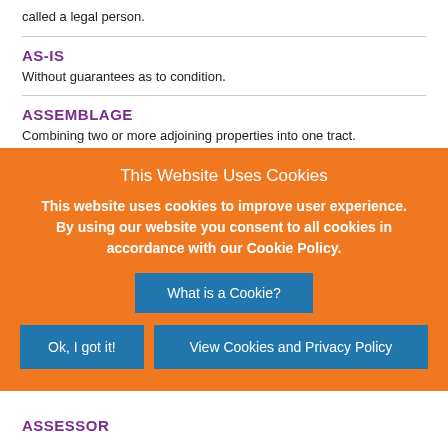called a legal person.
AS-IS
Without guarantees as to condition.
ASSEMBLAGE
Combining two or more adjoining properties into one tract.
ASSESSMENT
1. The valuation of property for purposes of taxation. 2. A non-recurring specific charge against property for a particular purpose such as streets or sewers.
[Figure (screenshot): Cookie consent overlay with orange background. Title: 'This Website Uses Cookies'. Body: 'This website uses cookies to improve user experience. By using our website you consent to all cookies in accordance with our Cookie Policy.' Buttons: 'What is a Cookie?', 'Ok, I got it!', 'View Cookies and Privacy Policy'.]
ASSESSOR